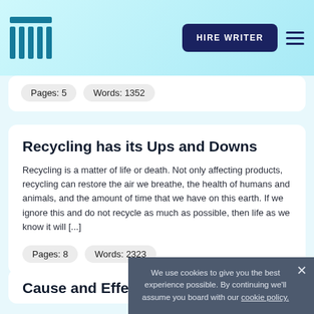HIRE WRITER
Pages: 5    Words: 1352
Recycling has its Ups and Downs
Recycling is a matter of life or death. Not only affecting products, recycling can restore the air we breathe, the health of humans and animals, and the amount of time that we have on this earth. If we ignore this and do not recycle as much as possible, then life as we know it will [...]
Pages: 8    Words: 2323
Cause and Effects of Pollution
We use cookies to give you the best experience possible. By continuing we'll assume you board with our cookie policy.